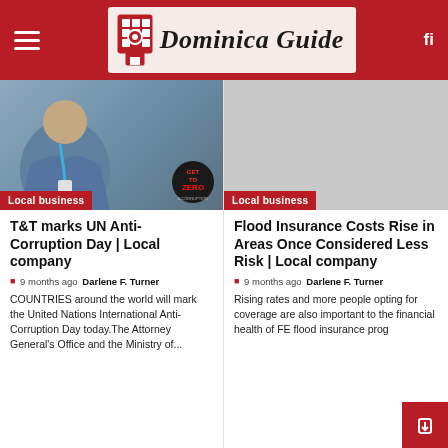Dominica Guide
[Figure (photo): Person in denim jacket with lanyard, 'Get to Zero - A Corruption' badge overlay, Local business tag]
[Figure (photo): Gray placeholder image with Local business tag]
T&T marks UN Anti-Corruption Day | Local company
9 months ago Darlene F. Turner
COUNTRIES around the world will mark the United Nations International Anti-Corruption Day today.The Attorney General's Office and the Ministry of...
Flood Insurance Costs Rise in Areas Once Considered Less Risk | Local company
9 months ago Darlene F. Turner
Rising rates and more people opting for coverage are also important to the financial health of FE flood insurance prog